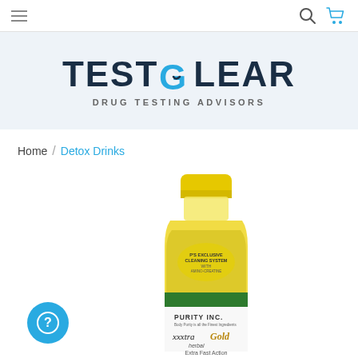Navigation bar with hamburger menu, search icon, and cart icon
[Figure (logo): Testclear logo with text TESTCLEAR and subtitle DRUG TESTING ADVISORS on light blue background]
Home / Detox Drinks
[Figure (photo): Product photo of Purity Inc. Xxxtra Gold Herbal detox drink in a yellow-capped clear bottle with yellow liquid]